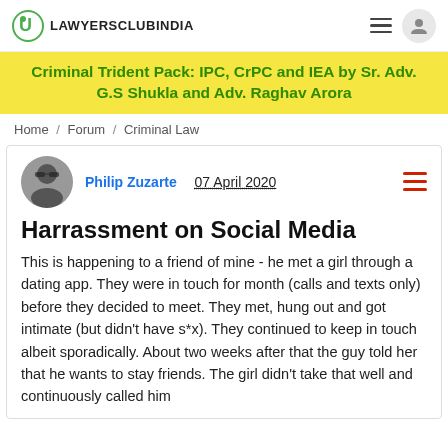LAWYERSCLUBINDIA
[Figure (infographic): Yellow promotional banner for Criminal Trident Pack course]
Criminal Trident Pack: IPC, CrPC and IEA by Sr. Adv. G.S Shukla and Adv. Raghav Arora
Home / Forum / Criminal Law
Philip Zuzarte   07 April 2020
Harrassment on Social Media
This is happening to a friend of mine - he met a girl through a dating app. They were in touch for month (calls and texts only) before they decided to meet. They met, hung out and got intimate (but didn't have s*x). They continued to keep in touch albeit sporadically. About two weeks after that the guy told her that he wants to stay friends. The girl didn't take that well and continuously called him